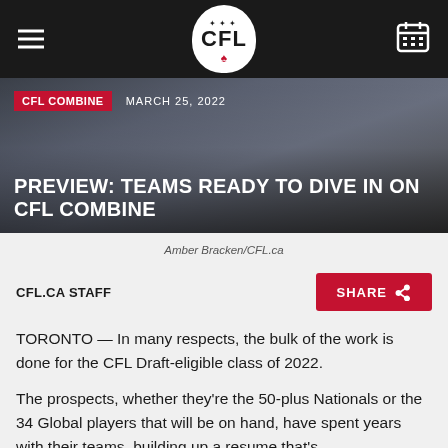CFL
[Figure (photo): Athletes sitting on bleachers/bench, legs visible, wearing athletic clothing and Nike sneakers, outdoors]
PREVIEW: TEAMS READY TO DIVE IN ON CFL COMBINE
Amber Bracken/CFL.ca
CFL.CA STAFF
TORONTO — In many respects, the bulk of the work is done for the CFL Draft-eligible class of 2022.
The prospects, whether they're the 50-plus Nationals or the 34 Global players that will be on hand, have spent years with their teams, building up a resume that's